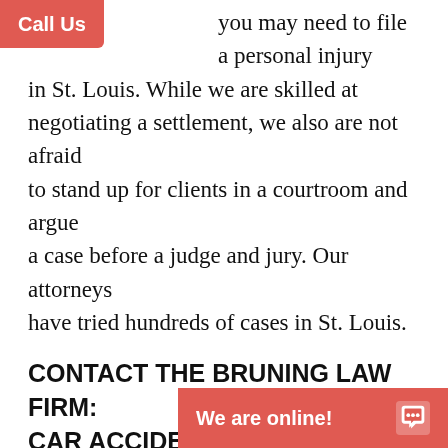you may need to file a personal injury in St. Louis. While we are skilled at negotiating a settlement, we also are not afraid to stand up for clients in a courtroom and argue a case before a judge and jury. Our attorneys have tried hundreds of cases in St. Louis.
CONTACT THE BRUNING LAW FIRM: CAR ACCIDENT LAWYERS MO
Information is power. The more you know, the smarter your choices. To learn more about just how important it is to have an experienced St. Louis motor vehicle accident attorney working on your case, we have put together a fact-filled guide to help you decide what you should do after your car accide